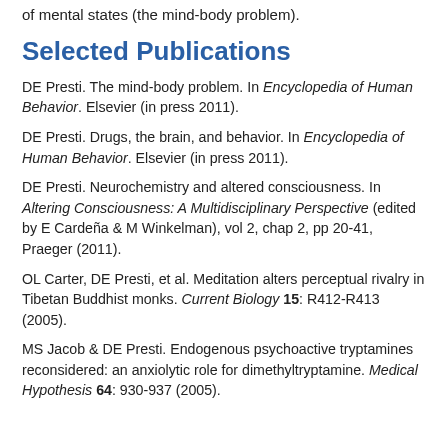of mental states (the mind-body problem).
Selected Publications
DE Presti. The mind-body problem. In Encyclopedia of Human Behavior. Elsevier (in press 2011).
DE Presti. Drugs, the brain, and behavior. In Encyclopedia of Human Behavior. Elsevier (in press 2011).
DE Presti. Neurochemistry and altered consciousness. In Altering Consciousness: A Multidisciplinary Perspective (edited by E Cardeña & M Winkelman), vol 2, chap 2, pp 20-41, Praeger (2011).
OL Carter, DE Presti, et al. Meditation alters perceptual rivalry in Tibetan Buddhist monks. Current Biology 15: R412-R413 (2005).
MS Jacob & DE Presti. Endogenous psychoactive tryptamines reconsidered: an anxiolytic role for dimethyltryptamine. Medical Hypothesis 64: 930-937 (2005).